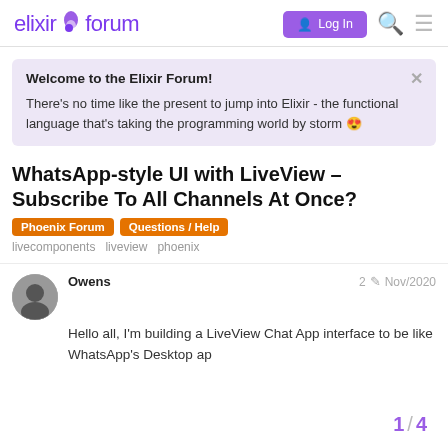elixir forum — Log In
Welcome to the Elixir Forum!
There's no time like the present to jump into Elixir - the functional language that's taking the programming world by storm 😍
WhatsApp-style UI with LiveView – Subscribe To All Channels At Once?
Phoenix Forum   Questions / Help
livecomponents   liveview   phoenix
Owens   2   Nov/2020
Hello all, I'm building a LiveView Chat App interface to be like WhatsApp's Desktop ap
1 / 4